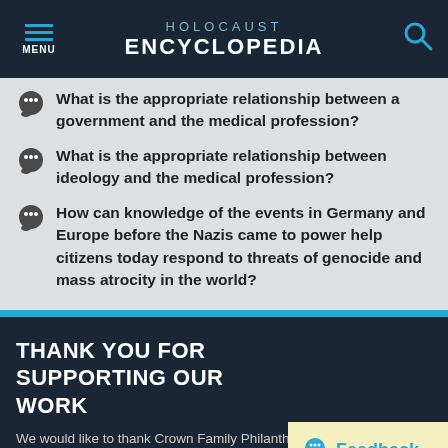HOLOCAUST ENCYCLOPEDIA
What is the appropriate relationship between a government and the medical profession?
What is the appropriate relationship between ideology and the medical profession?
How can knowledge of the events in Germany and Europe before the Nazis came to power help citizens today respond to threats of genocide and mass atrocity in the world?
THANK YOU FOR SUPPORTING OUR WORK
We would like to thank Crown Family Philanthropi... Ida Cooper Foundation for supporting the ongoing work to create